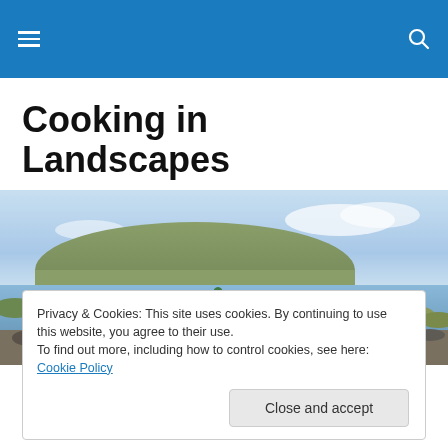Cooking in Landscapes
Vegetarian and fish recipes for hikers
[Figure (photo): Panoramic landscape photo of a calm lake reflecting sky and a green hill, with rocky shores and a person standing near the water's edge]
Privacy & Cookies: This site uses cookies. By continuing to use this website, you agree to their use.
To find out more, including how to control cookies, see here: Cookie Policy
Close and accept